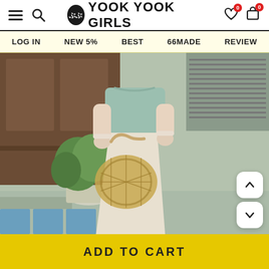YOOK YOOK GIRLS - navigation header with menu, search, wishlist, cart icons
LOG IN
NEW 5%
BEST
66MADE
REVIEW
[Figure (photo): A woman wearing a mint/sage green short-sleeve shirt and a cream/beige linen wide-leg skirt, holding a woven macrame net bag. Standing in front of a traditional wooden building with a potted plant.]
ADD TO CART